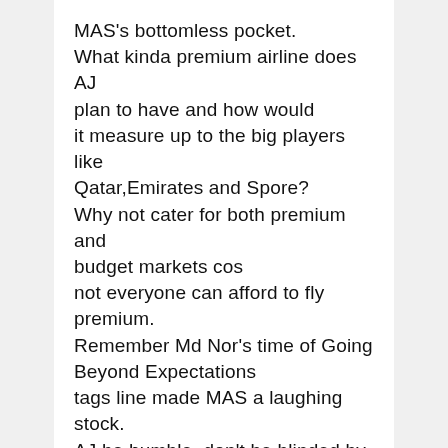MAS's bottomless pocket. What kinda premium airline does AJ plan to have and how would it measure up to the big players like Qatar,Emirates and Spore? Why not cater for both premium and budget markets cos not everyone can afford to fly premium. Remember Md Nor's time of Going Beyond Expectations tags line made MAS a laughing stock. AJ be humble, don't be blinded by your advisors. To overpromise and underdeliver will bite u in the a..
Reply